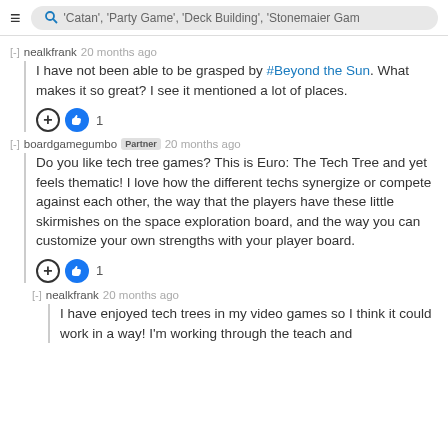≡  'Catan', 'Party Game', 'Deck Building', 'Stonemaier Gam'
[-] nealkfrank 20 months ago
I have not been able to be grasped by #Beyond the Sun. What makes it so great? I see it mentioned a lot of places.
+ 👍 1
[-] boardgamegumbo Partner 20 months ago
Do you like tech tree games?  This is Euro: The Tech Tree and yet feels thematic!  I love how the different techs synergize or compete against each other, the way that the players have these little skirmishes on the space exploration board, and the way you can customize your own strengths with your player board.
+ 👍 1
[-] nealkfrank 20 months ago
I have enjoyed tech trees in my video games so I think it could work in a way! I'm working through the teach and